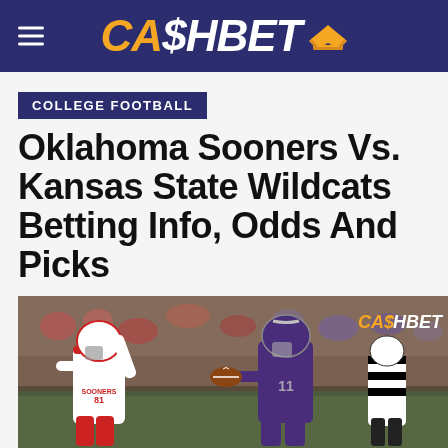CA$HBET
COLLEGE FOOTBALL
Oklahoma Sooners Vs. Kansas State Wildcats Betting Info, Odds And Picks
[Figure (photo): Football game photo showing Oklahoma Sooners player in white uniform with SOONERS text visible on jersey, arm raised, and Kansas State Wildcats player in purple uniform with football, referee visible in background, crowd in stands. CashBet watermark logo in top right corner of photo.]